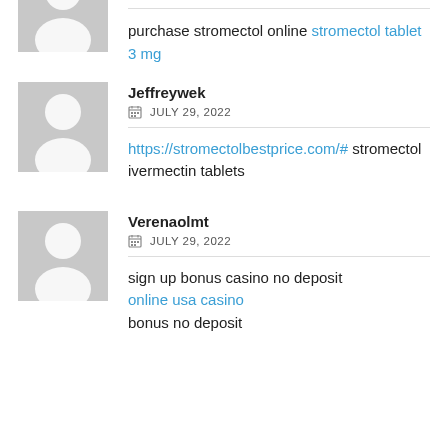[Figure (illustration): Partial avatar silhouette (top half visible) on gray background at top left]
purchase stromectol online stromectol tablet 3 mg
[Figure (illustration): Avatar silhouette on gray background, user Jeffreywek]
Jeffreywek
JULY 29, 2022
https://stromectolbestprice.com/# stromectol ivermectin tablets
[Figure (illustration): Avatar silhouette on gray background, user Verenaolmt]
Verenaolmt
JULY 29, 2022
sign up bonus casino no deposit
online usa casino
bonus no deposit